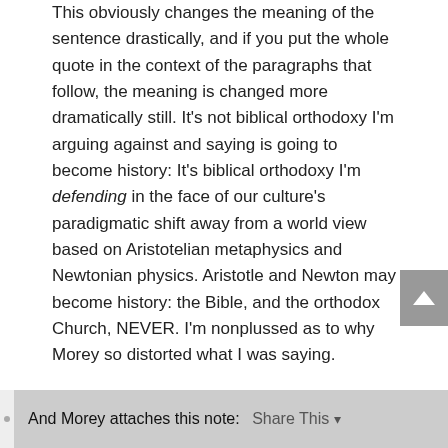This obviously changes the meaning of the sentence drastically, and if you put the whole quote in the context of the paragraphs that follow, the meaning is changed more dramatically still. It's not biblical orthodoxy I'm arguing against and saying is going to become history: It's biblical orthodoxy I'm defending in the face of our culture's paradigmatic shift away from a world view based on Aristotelian metaphysics and Newtonian physics. Aristotle and Newton may become history: the Bible, and the orthodox Church, NEVER. I'm nonplussed as to why Morey so distorted what I was saying.
8. To show that I am not an orthodox trinitarian. Morey offers the reader the following quote:
The contingent act of being Creator, Saviour, and Sanctifier is the way God has now creatively chosen to delight in Godself as Father, Son and Holy Spirit.
And Morey attaches this note: